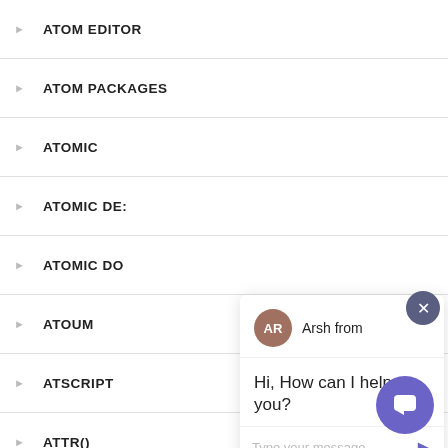ATOM EDITOR
ATOM PACKAGES
ATOMIC
ATOMIC DE:
ATOMIC DO
ATOUM
ATSCRIPT
ATTR()
ATWOOD
[Figure (screenshot): Chat widget popup showing avatar with initials AR, greeting 'Hi, How can I help you?', and a message input field with placeholder 'Type your message' and a send arrow button. A close button (X) in dark circle is at top right. A purple chat FAB button is at bottom right.]